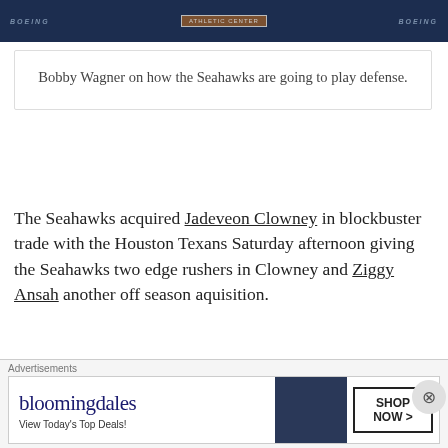[Figure (photo): Photo strip showing Boeing logos and Seahawks branding with an Athletic Center sign]
Bobby Wagner on how the Seahawks are going to play defense.
The Seahawks acquired Jadeveon Clowney in blockbuster trade with the Houston Texans Saturday afternoon giving the Seahawks two edge rushers in Clowney and Ziggy Ansah another off season aquisition.
“Having those guys, those playmakers is amazing. I don’t
[Figure (screenshot): Bloomingdale's advertisement banner reading: bloomingdales, View Today's Top Deals!, SHOP NOW >]